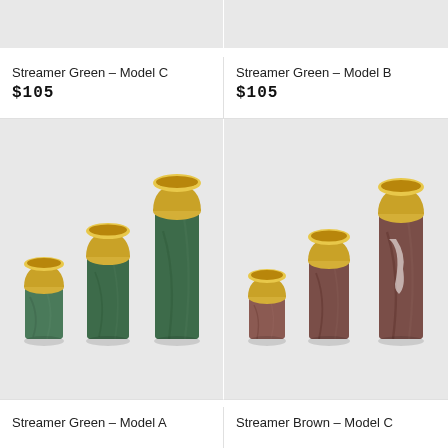[Figure (photo): Top portion of Streamer Green Model C product photo (cropped)]
[Figure (photo): Top portion of Streamer Green Model B product photo (cropped)]
Streamer Green – Model C
$105
Streamer Green – Model B
$105
[Figure (photo): Three green marble cylindrical candle holders of varying heights with gold metallic cup tops]
[Figure (photo): Three brown marble cylindrical candle holders of varying heights with gold metallic cup tops]
Streamer Green – Model A
Streamer Brown – Model C